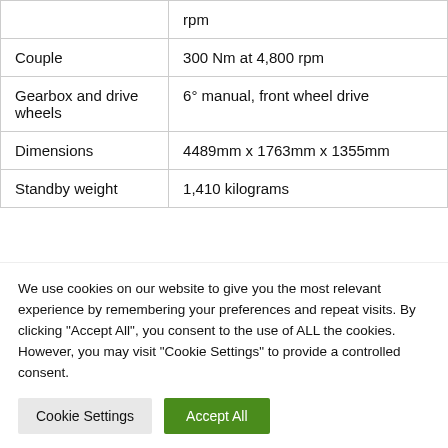| Specification | Value |
| --- | --- |
|  | rpm |
| Couple | 300 Nm at 4,800 rpm |
| Gearbox and drive wheels | 6° manual, front wheel drive |
| Dimensions | 4489mm x 1763mm x 1355mm |
| Standby weight | 1,410 kilograms |
We use cookies on our website to give you the most relevant experience by remembering your preferences and repeat visits. By clicking "Accept All", you consent to the use of ALL the cookies. However, you may visit "Cookie Settings" to provide a controlled consent.